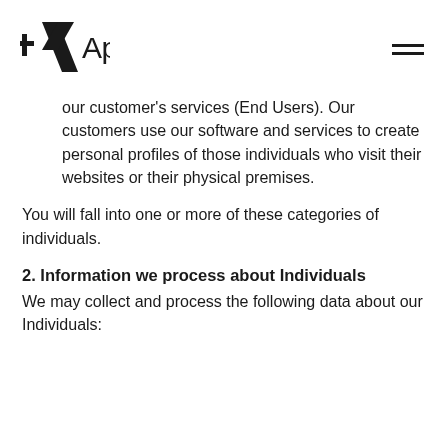Applied
our customer's services (End Users). Our customers use our software and services to create personal profiles of those individuals who visit their websites or their physical premises.
You will fall into one or more of these categories of individuals.
2. Information we process about Individuals
We may collect and process the following data about our Individuals: